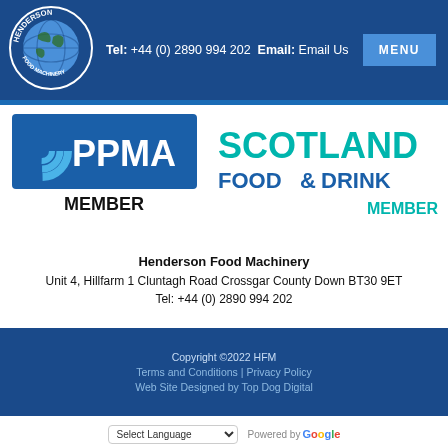Tel: +44 (0) 2890 994 202 Email: Email Us
[Figure (logo): Henderson Food Machinery circular logo with globe]
[Figure (logo): PPMA MEMBER logo]
[Figure (logo): Scotland Food & Drink Member logo]
Henderson Food Machinery
Unit 4, Hillfarm 1 Cluntagh Road Crossgar County Down BT30 9ET
Tel: +44 (0) 2890 994 202
Copyright ©2022 HFM
Terms and Conditions | Privacy Policy
Web Site Designed by Top Dog Digital